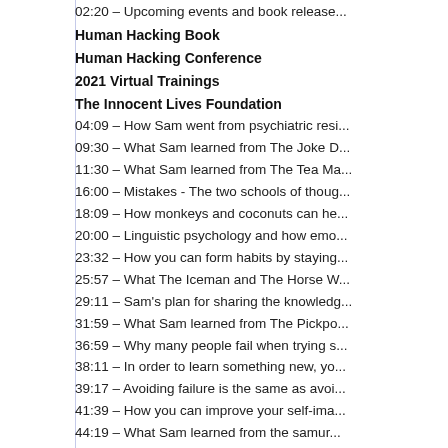02:20 – Upcoming events and book release...
Human Hacking Book
Human Hacking Conference
2021 Virtual Trainings
The Innocent Lives Foundation
04:09 – How Sam went from psychiatric resi...
09:30 – What Sam learned from The Joke D...
11:30 – What Sam learned from The Tea Ma...
16:00 – Mistakes - The two schools of thoug...
18:09 – How monkeys and coconuts can he...
20:00 – Linguistic psychology and how emo...
23:32 – How you can form habits by staying...
25:57 – What The Iceman and The Horse W...
29:11 – Sam's plan for sharing the knowledg...
31:59 – What Sam learned from The Pickpo...
36:59 – Why many people fail when trying s...
38:11 – In order to learn something new, yo...
39:17 – Avoiding failure is the same as avoi...
41:39 – How you can improve your self-ima...
44:19 – What Sam learned from the samur...